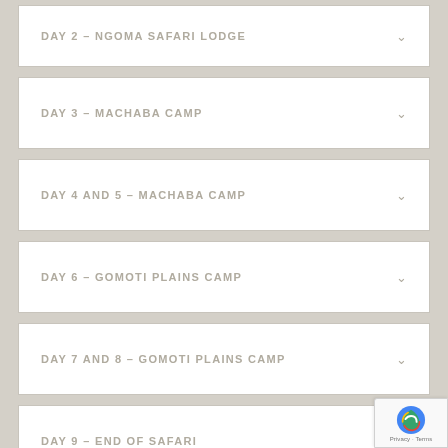DAY 2 – NGOMA SAFARI LODGE
DAY 3 – MACHABA CAMP
DAY 4 AND 5 – MACHABA CAMP
DAY 6 – GOMOTI PLAINS CAMP
DAY 7 AND 8 – GOMOTI PLAINS CAMP
DAY 9 – END OF SAFARI